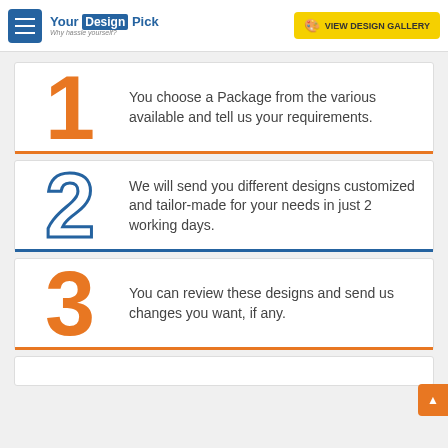YourDesignPick — Why hassle yourself? | VIEW DESIGN GALLERY
1 — You choose a Package from the various available and tell us your requirements.
2 — We will send you different designs customized and tailor-made for your needs in just 2 working days.
3 — You can review these designs and send us changes you want, if any.